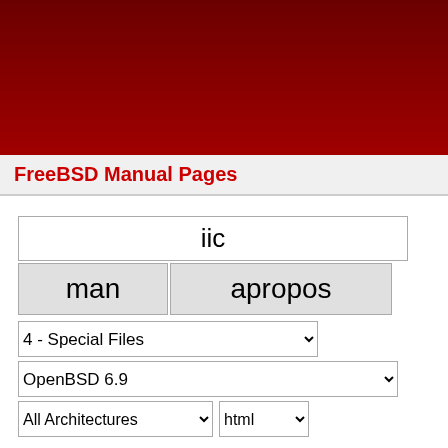[Figure (other): Dark red decorative banner at top of FreeBSD manual pages website]
FreeBSD Manual Pages
iic
man  apropos
4 - Special Files
OpenBSD 6.9
All Architectures  html
home | help
IIC(4)                          FreeBSD Kernel Interfaces M
NAME
iic -- Inter IC (I2C) bus